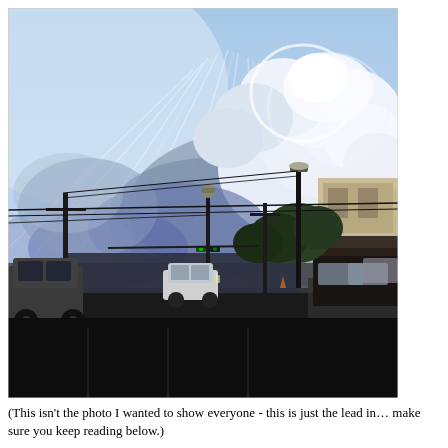[Figure (photo): Street-level photograph of a small town intersection at dusk. A dramatic cloudscape dominates the upper portion of the image, with bright crepuscular rays (god rays) bursting from behind a large cumulonimbus cloud formation against a blue sky. The lower portion shows a street scene with utility poles and wires, a street lamp in the center, trees, traffic signals, storefronts on the right side, parked and moving cars including an SUV on the left, and a dark paved road/parking area in the foreground.]
(This isn't the photo I wanted to show everyone - this is just the lead in… make sure you keep reading below.)